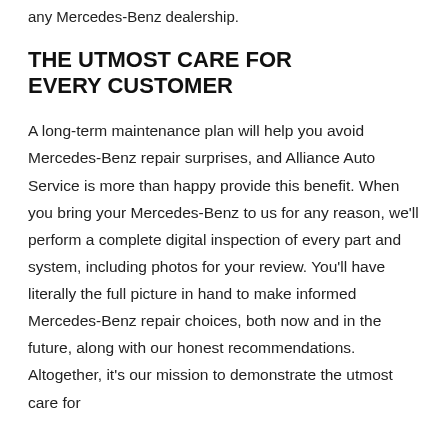any Mercedes-Benz dealership.
THE UTMOST CARE FOR EVERY CUSTOMER
A long-term maintenance plan will help you avoid Mercedes-Benz repair surprises, and Alliance Auto Service is more than happy provide this benefit. When you bring your Mercedes-Benz to us for any reason, we'll perform a complete digital inspection of every part and system, including photos for your review. You'll have literally the full picture in hand to make informed Mercedes-Benz repair choices, both now and in the future, along with our honest recommendations. Altogether, it's our mission to demonstrate the utmost care for